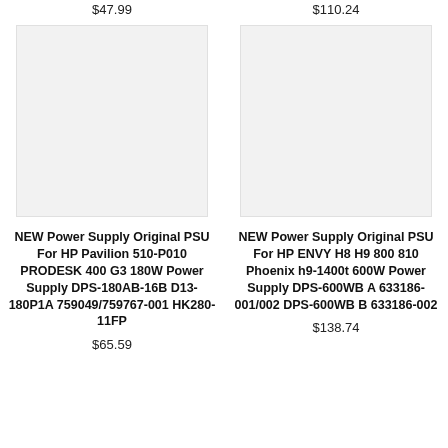$47.99
$110.24
[Figure (photo): Product image placeholder - light gray rectangle for HP Pavilion power supply]
[Figure (photo): Product image placeholder - light gray rectangle for HP ENVY power supply]
NEW Power Supply Original PSU For HP Pavilion 510-P010 PRODESK 400 G3 180W Power Supply DPS-180AB-16B D13-180P1A 759049/759767-001 HK280-11FP
NEW Power Supply Original PSU For HP ENVY H8 H9 800 810 Phoenix h9-1400t 600W Power Supply DPS-600WB A 633186-001/002 DPS-600WB B 633186-002
$65.59
$138.74